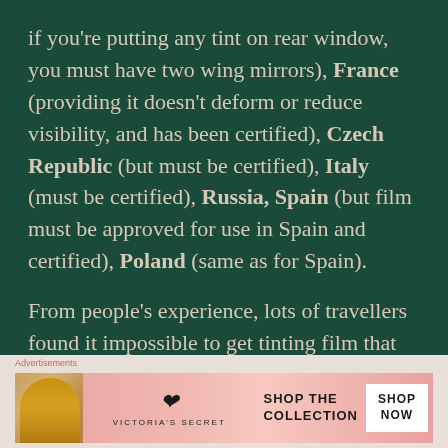if you're putting any tint on rear window, you must have two wing mirrors), France (providing it doesn't deform or reduce visibility, and has been certified), Czech Republic (but must be certified), Italy (must be certified), Russia, Spain (but film must be approved for use in Spain and certified), Poland (same as for Spain).

From people's experience, lots of travellers found it impossible to get tinting film that
[Figure (other): Victoria's Secret advertisement banner with a woman's photo, VS logo, 'Shop The Collection' text and 'Shop Now' button on a pink gradient background.]